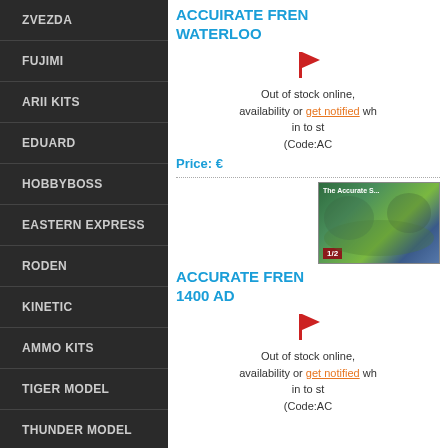ZVEZDA
FUJIMI
ARII KITS
EDUARD
HOBBYBOSS
EASTERN EXPRESS
RODEN
KINETIC
AMMO KITS
TIGER MODEL
THUNDER MODEL
ACCUIRATE FRENCH WATERLOO
Out of stock online, availability or get notified wh... in to st... (Code:AC...)
Price: €
[Figure (photo): Book/kit cover image for Accurate French around 1400 AD product]
ACCURATE FRENCH 1400 AD
Out of stock online, availability or get notified wh... in to st... (Code:AC...)